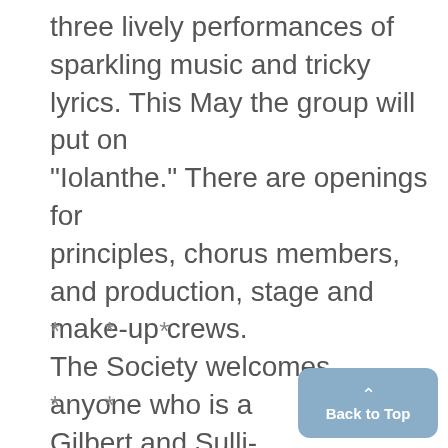three lively performances of sparkling music and tricky lyrics. This May the group will put on "Iolanthe." There are openings for principles, chorus members, and production, stage and make-up crews. The Society welcomes anyone who is a Gilbert and Sullivan enthusiast.
* * *
* *